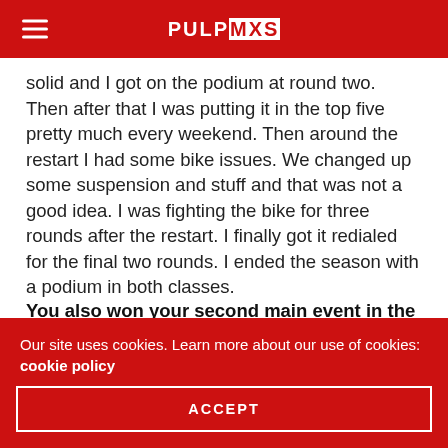PULPMXS
solid and I got on the podium at round two. Then after that I was putting it in the top five pretty much every weekend. Then around the restart I had some bike issues. We changed up some suspension and stuff and that was not a good idea. I was fighting the bike for three rounds after the restart. I finally got it redialed for the final two rounds. I ended the season with a podium in both classes.
You also won your second main event in the AX class this season.
Yeah, then I got two podiums this year in the AX class as
Our site uses cookies. Learn more about our use of cookies: cookie policy